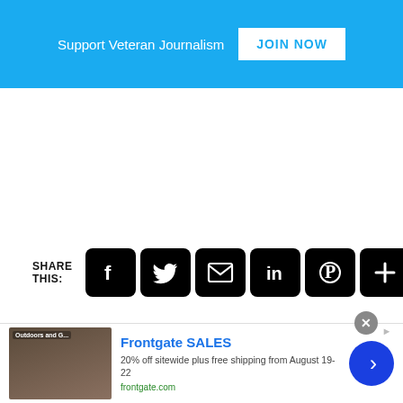Support Veteran Journalism JOIN NOW
SHARE THIS:
[Figure (screenshot): Social share buttons: Facebook, Twitter, Email, LinkedIn, Pinterest, More (+), and an empty button]
[Figure (infographic): Advertisement banner for Frontgate SALES: 20% off sitewide plus free shipping from August 19-22. frontgate.com. Shows outdoor furniture image with fire pit.]